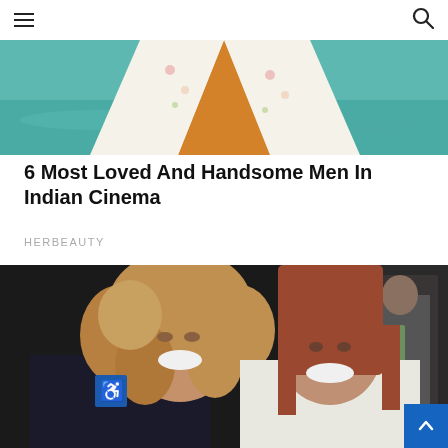Navigation header with hamburger menu and search icon
[Figure (photo): Partial photo of a person wearing a white floral jacket with orange visible beneath, standing near turquoise water]
6 Most Loved And Handsome Men In Indian Cinema
HERBEAUTY
[Figure (photo): Two women smiling together at an event — one with curly reddish-blonde hair, one with straight reddish-brown hair. A wheelchair accessibility sign is visible in the background on the left.]